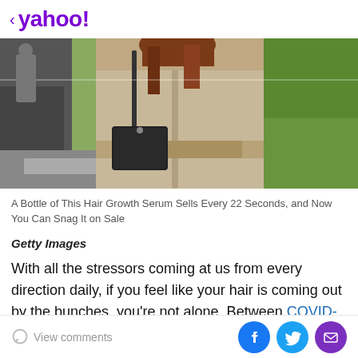< yahoo!
[Figure (photo): Woman from behind wearing a beige/tan trench coat with a black crossbody bag, with blurred outdoor background]
A Bottle of This Hair Growth Serum Sells Every 22 Seconds, and Now You Can Snag It on Sale
Getty Images
With all the stressors coming at us from every direction daily, if you feel like your hair is coming out by the bunches, you're not alone. Between COVID-19 and
View comments